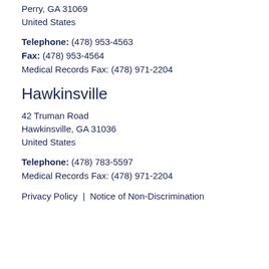Perry, GA 31069
United States
Telephone: (478) 953-4563
Fax: (478) 953-4564
Medical Records Fax: (478) 971-2204
Hawkinsville
42 Truman Road
Hawkinsville, GA 31036
United States
Telephone: (478) 783-5597
Medical Records Fax: (478) 971-2204
Privacy Policy  |  Notice of Non-Discrimination